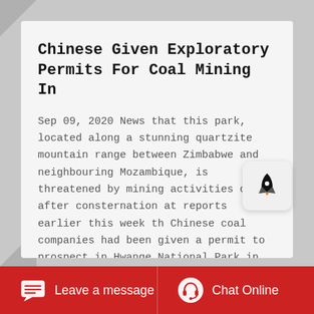Chinese Given Exploratory Permits For Coal Mining In
Sep 09, 2020 News that this park, located along a stunning quartzite mountain range between Zimbabwe and neighbouring Mozambique, is threatened by mining activities comes after consternation at reports earlier this week th Chinese coal companies had been given a permit to prospect in Hwange National Park in the northwest of the country home to Cecil ...
Leave a message | Chat Online